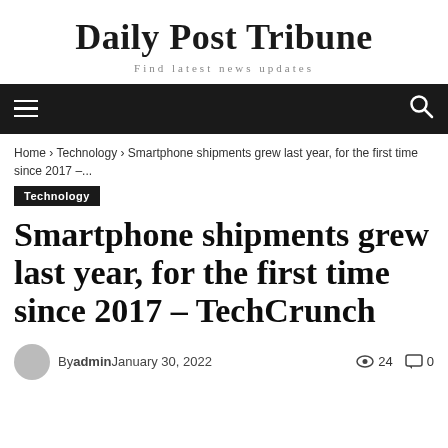Daily Post Tribune
Find latest news updates
Home › Technology › Smartphone shipments grew last year, for the first time since 2017 –...
Technology
Smartphone shipments grew last year, for the first time since 2017 – TechCrunch
By admin   January 30, 2022   24   0